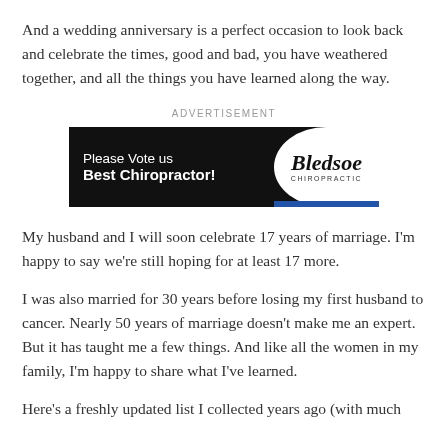And a wedding anniversary is a perfect occasion to look back and celebrate the times, good and bad, you have weathered together, and all the things you have learned along the way.
ADVERTISEMENT
[Figure (other): Advertisement banner for Bledsoe Chiropractic: black background with white text reading 'Please Vote us Best Chiropractor!' on the left, and a white circular logo area on the right with cursive text 'Bledsoe CHIROPRACTIC' and a blue bar at the bottom.]
My husband and I will soon celebrate 17 years of marriage. I'm happy to say we're still hoping for at least 17 more.
I was also married for 30 years before losing my first husband to cancer. Nearly 50 years of marriage doesn't make me an expert. But it has taught me a few things. And like all the women in my family, I'm happy to share what I've learned.
Here's a freshly updated list I collected years ago (with much